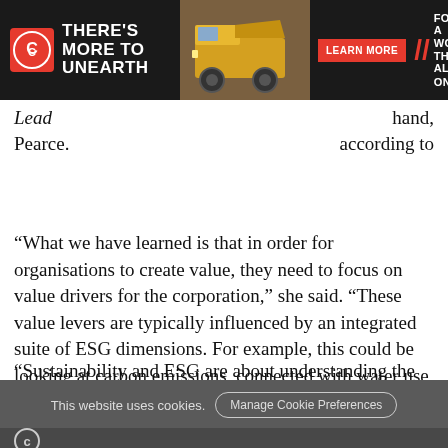[Figure (illustration): Cummins advertisement banner: black background with Cummins logo on left, large bold text 'THERE'S MORE TO UNEARTH', a yellow mining truck in the center, a red 'LEARN MORE' button, and 'FOR A WORLD THAT'S ALWAYS ON' text on the right with red slash marks.]
Lead hand, according to Pearce.
“What we have learned is that in order for organisations to create value, they need to focus on value drivers for the corporation,” she said. “These value levers are typically influenced by an integrated suite of ESG dimensions. For example, this could be looking at carbon emissions, connected with water use and nature, connected with local socio-economic development.”
“Sustainability and ESG are about understanding the inter-relationships between our social, natural and economic
This website uses cookies. Manage Cookie Preferences